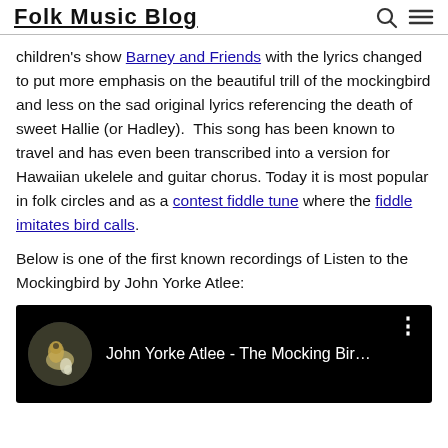Folk Music Blog
children's show Barney and Friends with the lyrics changed to put more emphasis on the beautiful trill of the mockingbird and less on the sad original lyrics referencing the death of sweet Hallie (or Hadley).  This song has been known to travel and has even been transcribed into a version for Hawaiian ukelele and guitar chorus. Today it is most popular in folk circles and as a contest fiddle tune where the fiddle imitates bird calls.
Below is one of the first known recordings of Listen to the Mockingbird by John Yorke Atlee:
[Figure (screenshot): YouTube video embed showing 'John Yorke Atlee - The Mocking Bir...' with a circular thumbnail of a vintage gramophone and dog image on a black background, with a three-dot menu icon.]